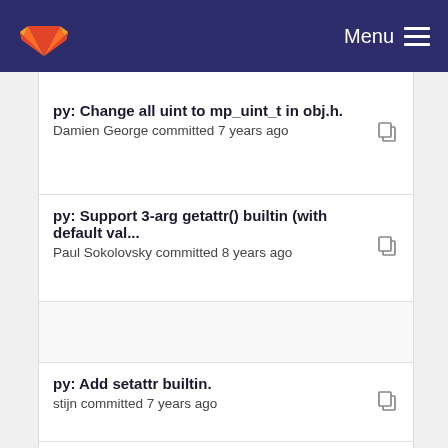GitLab — Menu
py: Change all uint to mp_uint_t in obj.h. — Damien George committed 7 years ago
py: Support 3-arg getattr() builtin (with default val... — Paul Sokolovsky committed 8 years ago
py: Add setattr builtin. — stijn committed 7 years ago
py: Implement getattr() builtin. — Paul Sokolovsky committed 8 years ago
py: Support 3-arg getattr() builtin (with default val... — Paul Sokolovsky committed 8 years ago